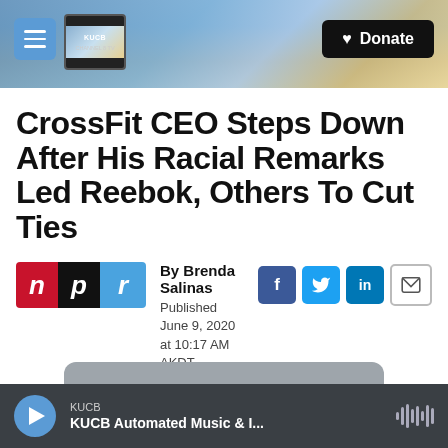KUCB Channel 8 TV — Donate
CrossFit CEO Steps Down After His Racial Remarks Led Reebok, Others To Cut Ties
By Brenda Salinas
Published June 9, 2020 at 10:17 AM AKDT
[Figure (logo): NPR logo with n (red), p (black), r (blue) tiles]
[Figure (infographic): Social sharing icons: Facebook (f), Twitter bird, LinkedIn (in), email envelope]
KUCB
KUCB Automated Music & I...